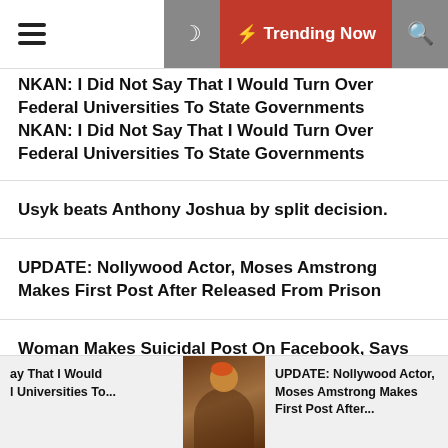Trending Now
NKAN: I Did Not Say That I Would Turn Over Federal Universities To State Governments
Usyk beats Anthony Joshua by split decision.
UPDATE: Nollywood Actor, Moses Amstrong Makes First Post After Released From Prison
Woman Makes Suicidal Post On Facebook, Says Death Is Peaceful
Bauchi's APC Governorship Candidate is Too Popular and Decent to Practice Politics of Militancy and Thuggery
NKAN: I Did Not Say That I Would Turn Over Federal Universities To... | UPDATE: Nollywood Actor, Moses Amstrong Makes First Post After...